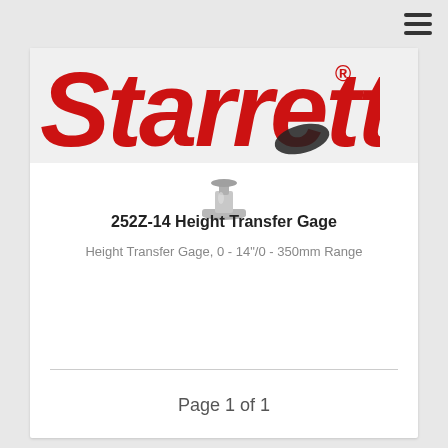[Figure (logo): Starrett red italic logo with registered trademark symbol]
[Figure (photo): Small product photo of 252Z-14 Height Transfer Gage component, metallic threaded part]
252Z-14 Height Transfer Gage
Height Transfer Gage, 0 - 14"/0 - 350mm Range
Page 1 of 1